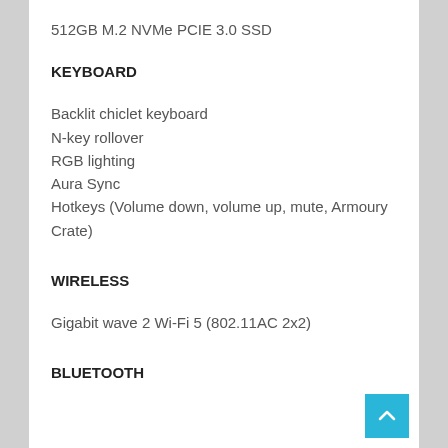512GB M.2 NVMe PCIE 3.0 SSD
KEYBOARD
Backlit chiclet keyboard
N-key rollover
RGB lighting
Aura Sync
Hotkeys (Volume down, volume up, mute, Armoury Crate)
WIRELESS
Gigabit wave 2 Wi-Fi 5 (802.11AC 2x2)
BLUETOOTH